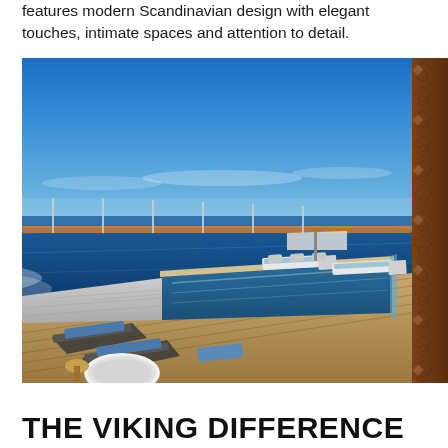features modern Scandinavian design with elegant touches, intimate spaces and attention to detail.
[Figure (photo): Aerial view of a cruise ship deck with an infinity pool, sun loungers, teak wood decking, and blue ocean horizon under a clear sky. A decorative brown latticed column is visible on the right edge.]
THE VIKING DIFFERENCE